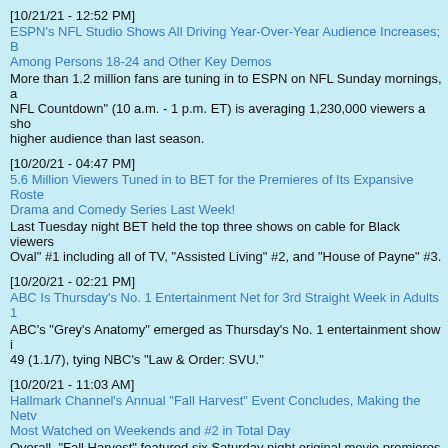[10/21/21 - 12:52 PM] ESPN's NFL Studio Shows All Driving Year-Over-Year Audience Increases; B Among Persons 18-24 and Other Key Demos. More than 1.2 million fans are tuning in to ESPN on NFL Sunday mornings, a NFL Countdown (10 a.m. - 1 p.m. ET) is averaging 1,230,000 viewers a sho higher audience than last season.
[10/20/21 - 04:47 PM] 5.6 Million Viewers Tuned in to BET for the Premieres of Its Expansive Roste Drama and Comedy Series Last Week! Last Tuesday night BET held the top three shows on cable for Black viewers Oval #1 including all of TV, Assisted Living #2, and House of Payne #3.
[10/20/21 - 02:21 PM] ABC Is Thursday's No. 1 Entertainment Net for 3rd Straight Week in Adults 1 ABC's Grey's Anatomy emerged as Thursday's No. 1 entertainment show i 49 (1.1/7), tying NBC's Law & Order: SVU.
[10/20/21 - 11:03 AM] Hallmark Channel's Annual Fall Harvest Event Concludes, Making the Netv Most Watched on Weekends and #2 in Total Day. Overall, Fall Harvest featured six Saturday night original movie premieres w averaged 1.5 million Households, 1.8 million Total Viewers and 194,000 Wo
[10/20/21 - 07:37 AM] A Million Little Things Posts +250% Increase in L+7 Playback in Adults 18- A Million Little Things also more than doubled its overall audience after sev playback, soaring by 135% in Total Viewers (1.7 million to 4.0 million).